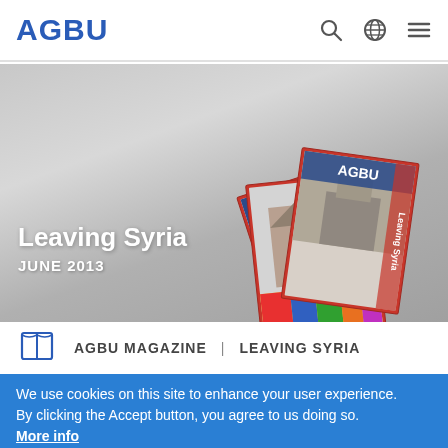AGBU
[Figure (screenshot): Hero banner showing a pile of AGBU magazines on a grey table surface. Text overlay reads 'Leaving Syria' and 'JUNE 2013'.]
Leaving Syria
JUNE 2013
AGBU MAGAZINE | LEAVING SYRIA
We use cookies on this site to enhance your user experience. By clicking the Accept button, you agree to us doing so. More info